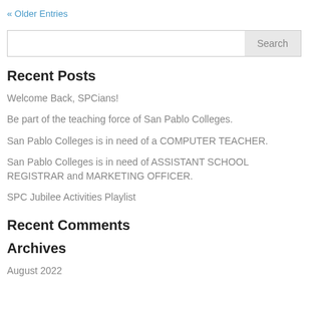« Older Entries
Recent Posts
Welcome Back, SPCians!
Be part of the teaching force of San Pablo Colleges.
San Pablo Colleges is in need of a COMPUTER TEACHER.
San Pablo Colleges is in need of ASSISTANT SCHOOL REGISTRAR and MARKETING OFFICER.
SPC Jubilee Activities Playlist
Recent Comments
Archives
August 2022